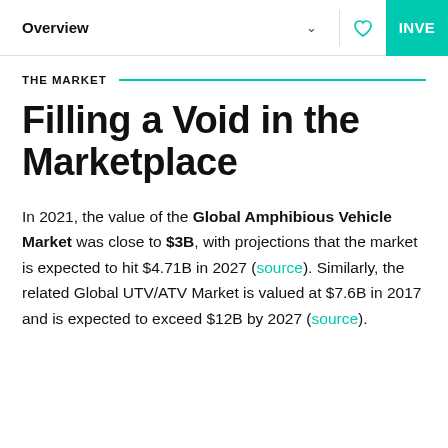Overview
THE MARKET
Filling a Void in the Marketplace
In 2021, the value of the Global Amphibious Vehicle Market was close to $3B, with projections that the market is expected to hit $4.71B in 2027 (source). Similarly, the related Global UTV/ATV Market is valued at $7.6B in 2017 and is expected to exceed $12B by 2027 (source).